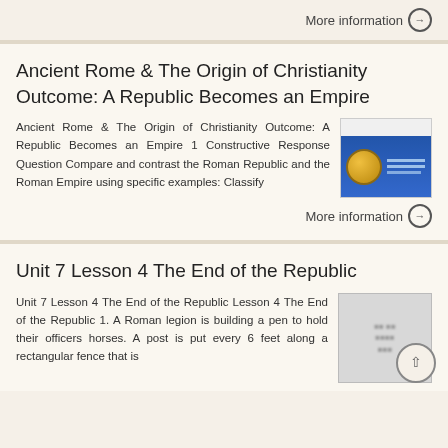More information →
Ancient Rome & The Origin of Christianity Outcome: A Republic Becomes an Empire
Ancient Rome & The Origin of Christianity Outcome: A Republic Becomes an Empire 1 Constructive Response Question Compare and contrast the Roman Republic and the Roman Empire using specific examples: Classify
[Figure (photo): Thumbnail image showing a gold coin on a blue striped background related to Ancient Rome and Christianity course material]
More information →
Unit 7 Lesson 4 The End of the Republic
Unit 7 Lesson 4 The End of the Republic Lesson 4 The End of the Republic 1. A Roman legion is building a pen to hold their officers horses. A post is put every 6 feet along a rectangular fence that is
[Figure (photo): Blurred/redacted thumbnail image for Unit 7 Lesson 4 The End of the Republic]